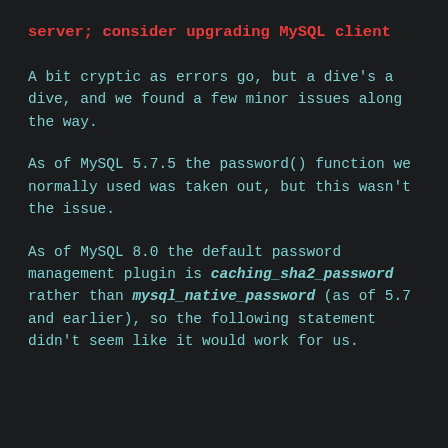server; consider upgrading MySQL client
A bit cryptic as errors go, but a dive's a dive, and we found a few minor issues along the way.
As of MySQL 5.7.5 the password() function we normally used was taken out, but this wasn't the issue.
As of MySQL 8.0 the default password management plugin is caching_sha2_password rather than mysql_native_password (as of 5.7 and earlier), so the following statement didn't seem like it would work for us.